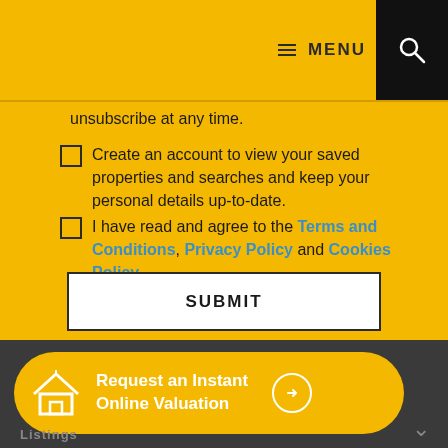≡ MENU
unsubscribe at any time.
Create an account to view your saved properties and searches and keep your personal details up-to-date.
I have read and agree to the Terms and Conditions, Privacy Policy and Cookies Policy.
SUBMIT
[Figure (infographic): Yellow pill-shaped button with house icon: Request an Instant Online Valuation with arrow circle]
Listings